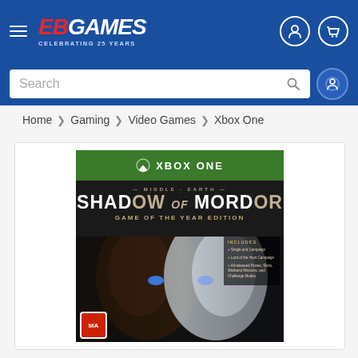[Figure (screenshot): EB Games website header with blue background, hamburger menu, EB Games logo with 'Celebrating 25 Years' tagline, user account icon, and shopping cart icon]
[Figure (screenshot): Search bar on blue background with white search input field and circular avatar icon on right]
Home > Gaming > Video Games > Xbox One
[Figure (photo): Middle-earth: Shadow of Mordor Game of the Year Edition Xbox One game box art featuring a dark split face of a warrior/wraith character with glowing eyes]